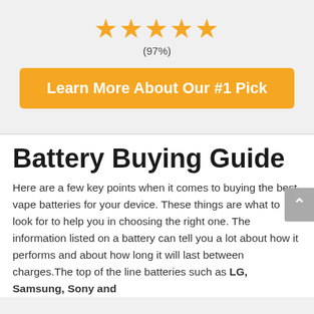[Figure (other): Five orange/yellow star rating icons]
(97%)
Learn More About Our #1 Pick
Battery Buying Guide
Here are a few key points when it comes to buying the best vape batteries for your device. These things are what to look for to help you in choosing the right one. The information listed on a battery can tell you a lot about how it performs and about how long it will last between charges. The top of the line batteries such as LG, Samsung, Sony and